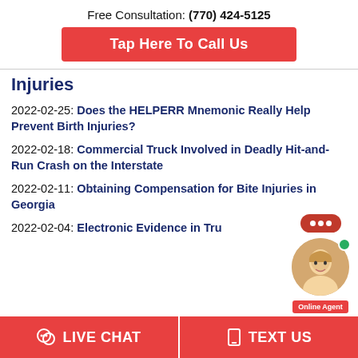Free Consultation: (770) 424-5125
Tap Here To Call Us
Injuries
2022-02-25: Does the HELPERR Mnemonic Really Help Prevent Birth Injuries?
2022-02-18: Commercial Truck Involved in Deadly Hit-and-Run Crash on the Interstate
2022-02-11: Obtaining Compensation for Bite Injuries in Georgia
2022-02-04: Electronic Evidence in Tru...
LIVE CHAT   TEXT US